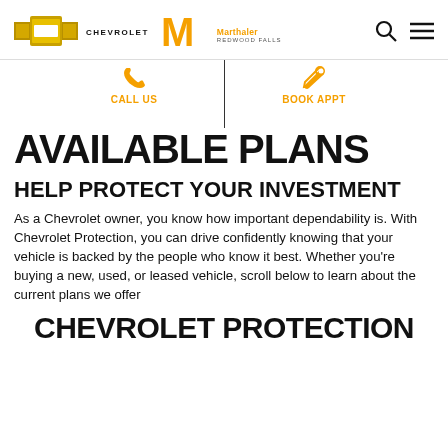[Figure (logo): Chevrolet bowtie logo and Marthaler Chevrolet Redwood Falls dealership logo on the left; search icon and hamburger menu icon on the right]
[Figure (infographic): Navigation bar with phone icon and CALL US label on the left, a vertical dividing line in the center, and wrench icon with BOOK APPT label on the right]
AVAILABLE PLANS
HELP PROTECT YOUR INVESTMENT
As a Chevrolet owner, you know how important dependability is. With Chevrolet Protection, you can drive confidently knowing that your vehicle is backed by the people who know it best. Whether you're buying a new, used, or leased vehicle, scroll below to learn about the current plans we offer
CHEVROLET PROTECTION